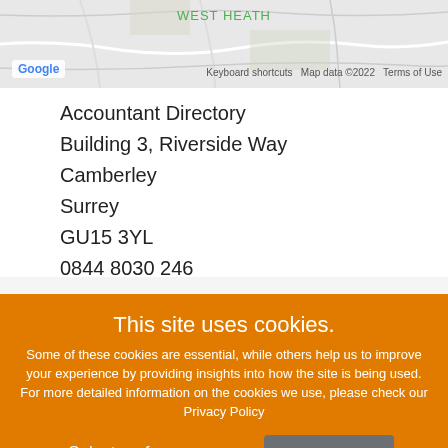[Figure (map): Google Maps screenshot showing West Heath area with road network. Google logo bottom-left, map credits bottom-right.]
Accountant Directory
Building 3, Riverside Way
Camberley
Surrey
GU15 3YL
0844 8030 246
This site uses cookies.
Some of these cookies are essential, while others help us to improve your experience by providing insights into how the site is being used. For more detailed information on the cookies we use, please check our Privacy Policy
Select preferences
Accept all